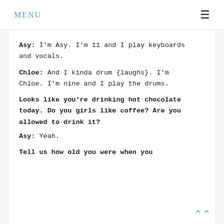MENU
Asy: I'm Asy. I'm 11 and I play keyboards and vocals.
Chloe: And I kinda drum {laughs}. I'm Chloe. I'm nine and I play the drums.
Looks like you're drinking hot chocolate today. Do you girls like coffee? Are you allowed to drink it?
Asy: Yeah.
Tell us how old you were when you